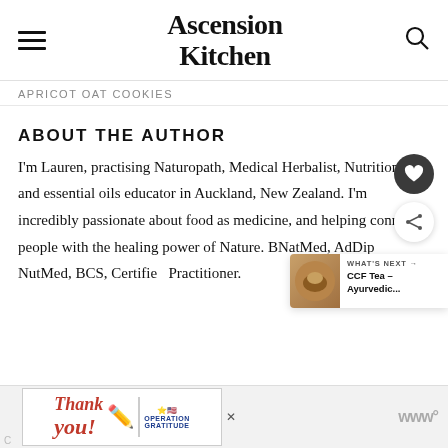Ascension Kitchen
APRICOT OAT COOKIES
ABOUT THE AUTHOR
I'm Lauren, practising Naturopath, Medical Herbalist, Nutritionist, and essential oils educator in Auckland, New Zealand. I'm incredibly passionate about food as medicine, and helping connect people with the healing power of Nature. BNatMed, AdDip NutMed, BCS, Certified Practitioner.
[Figure (screenshot): Advertisement banner: Operation Gratitude thank you ad with military imagery]
C